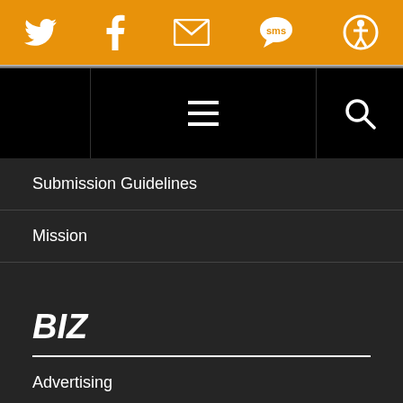[Figure (other): Orange social media bar with Twitter, Facebook, email/envelope, SMS, and accessibility icons in white]
[Figure (other): Black navigation bar with hamburger menu icon in center and search icon on right]
Submission Guidelines
Mission
BIZ
Advertising
Privacy Policy
FOLLOW US